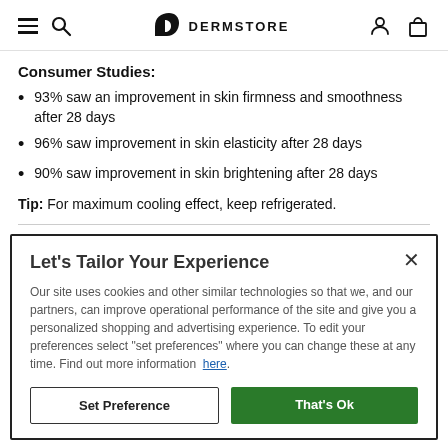DERMSTORE
Consumer Studies:
93% saw an improvement in skin firmness and smoothness after 28 days
96% saw improvement in skin elasticity after 28 days
90% saw improvement in skin brightening after 28 days
Tip: For maximum cooling effect, keep refrigerated.
Let's Tailor Your Experience
Our site uses cookies and other similar technologies so that we, and our partners, can improve operational performance of the site and give you a personalized shopping and advertising experience. To edit your preferences select "set preferences" where you can change these at any time. Find out more information here.
Set Preference | That's Ok